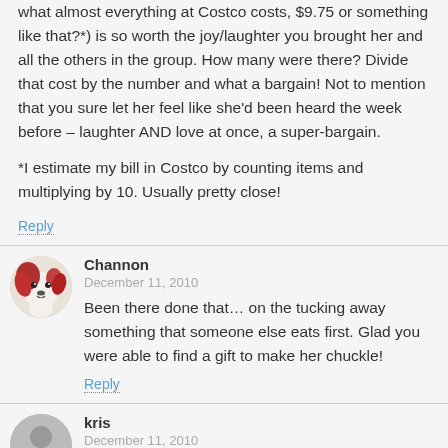what almost everything at Costco costs, $9.75 or something like that?*) is so worth the joy/laughter you brought her and all the others in the group. How many were there? Divide that cost by the number and what a bargain! Not to mention that you sure let her feel like she'd been heard the week before – laughter AND love at once, a super-bargain.
*I estimate my bill in Costco by counting items and multiplying by 10. Usually pretty close!
Reply
Channon
December 11, 2010
Been there done that… on the tucking away something that someone else eats first. Glad you were able to find a gift to make her chuckle!
Reply
kris
December 11, 2010